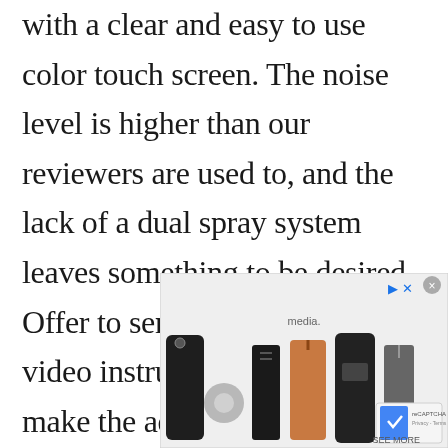with a clear and easy to use color touch screen. The noise level is higher than our reviewers are used to, and the lack of a dual spray system leaves something to be desired. Offer to send Frank parts with video instructions to help him make the adjustments. When support was needed, the CraftUnique team was known for its proactive and
[Figure (other): Advertisement overlay showing product images (phone cases, accessories) with navigation controls, close button, media label, reCAPTCHA logo, and SEE MORE text]